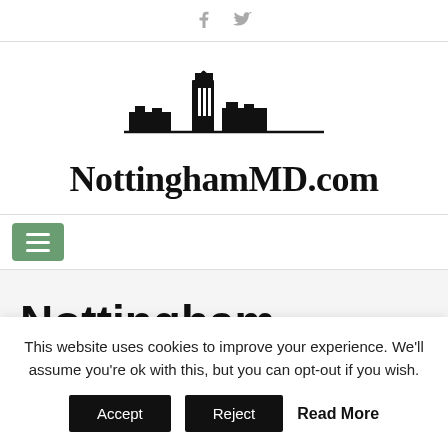f  🐦
[Figure (logo): NottinghamMD.com logo with city skyline silhouette above the text]
NottinghamMD.com
Nottingham hospital
This website uses cookies to improve your experience. We'll assume you're ok with this, but you can opt-out if you wish.
Accept  Reject  Read More